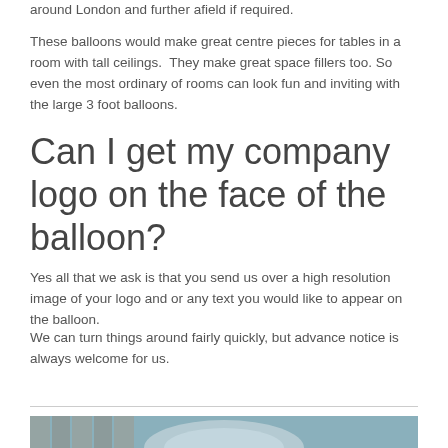around London and further afield if required.
These balloons would make great centre pieces for tables in a room with tall ceilings.  They make great space fillers too. So even the most ordinary of rooms can look fun and inviting with the large 3 foot balloons.
Can I get my company logo on the face of the balloon?
Yes all that we ask is that you send us over a high resolution image of your logo and or any text you would like to appear on the balloon.
We can turn things around fairly quickly, but advance notice is always welcome for us.
[Figure (photo): Photo of a large light blue balloon in an outdoor garden setting with a wooden fence in the background.]